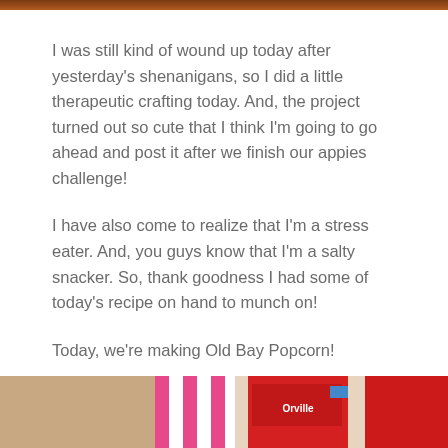[Figure (photo): Top image strip - partial photo at the top of the page]
I was still kind of wound up today after yesterday's shenanigans, so I did a little therapeutic crafting today. And, the project turned out so cute that I think I'm going to go ahead and post it after we finish our appies challenge!
I have also come to realize that I'm a stress eater. And, you guys know that I'm a salty snacker. So, thank goodness I had some of today's recipe on hand to munch on!
Today, we're making Old Bay Popcorn!
[Figure (photo): Bottom photo showing popcorn containers including an Orville brand box and red containers with pink and white striped popcorn box]